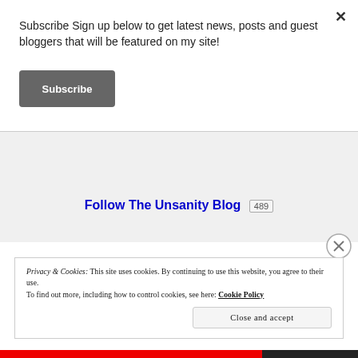Subscribe Sign up below to get latest news, posts and guest bloggers that will be featured on my site!
Subscribe
Follow The Unsanity Blog 489
Privacy & Cookies: This site uses cookies. By continuing to use this website, you agree to their use.
To find out more, including how to control cookies, see here: Cookie Policy
Close and accept